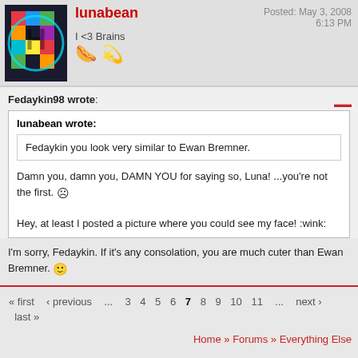[Figure (illustration): User avatar: colorful geometric puzzle H logo on dark background]
lunabean
I <3 Brains
Posted: May 3, 2008 6:13 PM
Fedaykin98 wrote:
lunabean wrote:
Fedaykin you look very similar to Ewan Bremner.
Damn you, damn you, DAMN YOU for saying so, Luna! ...you're not the first. 
Hey, at least I posted a picture where you could see my face! :wink:
I'm sorry, Fedaykin. If it's any consolation, you are much cuter than Ewan Bremner.
« first  ‹ previous  ...  3  4  5  6  7  8  9  10  11  ...  next ›  last »
Home » Forums » Everything Else